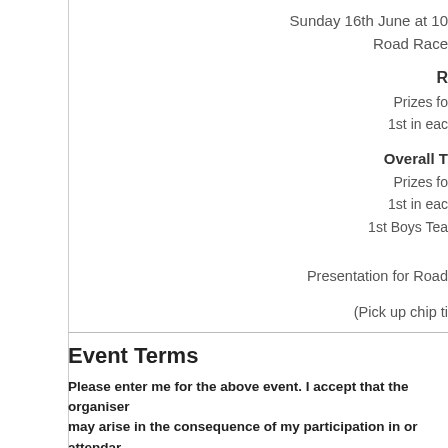Sunday 16th June at 10
Road Race
R
Prizes fo
1st in eac
Overall T
Prizes fo
1st in eac
1st Boys Tea
Presentation for Road
(Pick up chip ti
Event Terms
Please enter me for the above event. I accept that the organiser may arise in the consequence of my participation in or attendar the best